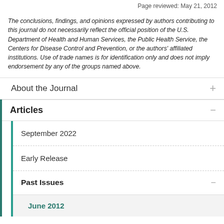Page reviewed: May 21, 2012
The conclusions, findings, and opinions expressed by authors contributing to this journal do not necessarily reflect the official position of the U.S. Department of Health and Human Services, the Public Health Service, the Centers for Disease Control and Prevention, or the authors' affiliated institutions. Use of trade names is for identification only and does not imply endorsement by any of the groups named above.
About the Journal
Articles
September 2022
Early Release
Past Issues
June 2012